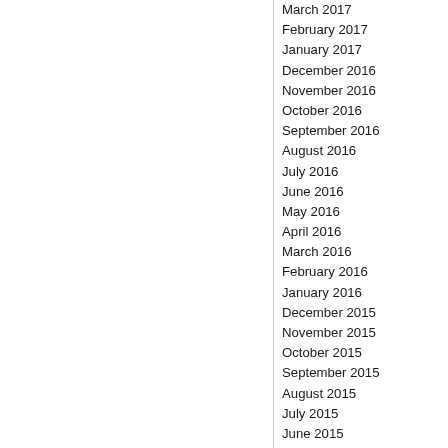March 2017
February 2017
January 2017
December 2016
November 2016
October 2016
September 2016
August 2016
July 2016
June 2016
May 2016
April 2016
March 2016
February 2016
January 2016
December 2015
November 2015
October 2015
September 2015
August 2015
July 2015
June 2015
May 2015
April 2015
March 2015
February 2015
January 2015
December 2014